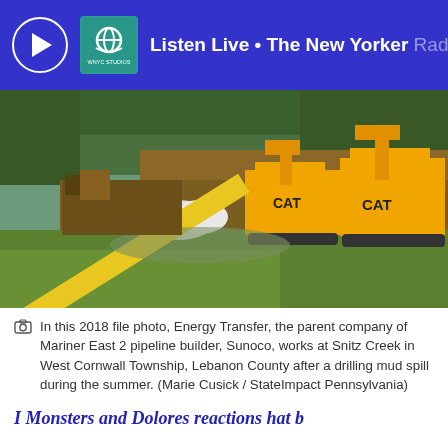Listen Live • The New Yorker Radio Hour
[Figure (photo): 2018 file photo showing two CAT excavators working at a construction site near Snitz Creek in West Cornwall Township, Lebanon County, Pennsylvania. A yellow pipe or beam is visible diagonally in the foreground, with white bags and disturbed earth visible. Dense green trees and vegetation surround the site.]
In this 2018 file photo, Energy Transfer, the parent company of Mariner East 2 pipeline builder, Sunoco, works at Snitz Creek in West Cornwall Township, Lebanon County after a drilling mud spill during the summer. (Marie Cusick / StateImpact Pennsylvania)
I Monsters and Dolores reactions hat b